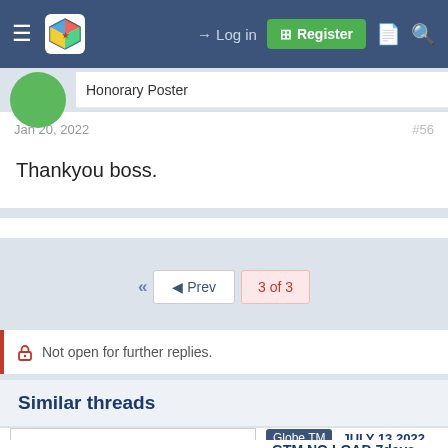Log in | Register
Honorary Poster
Jan 20, 2022  #56
Thankyou boss.
◄◄  ◄ Prev  3 of 3
🔒 Not open for further replies.
Similar threads
Globe TM  JULY 13 2022  GTM NO LOAD 7days